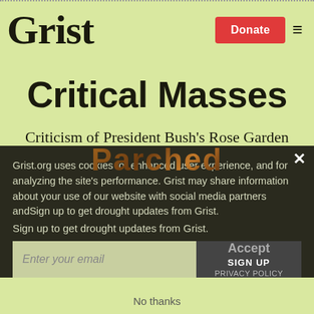Grist
Critical Masses
Criticism of President Bush’s Rose Garden speech on global warming hasn’t been hard
Grist.org uses cookies for enhanced user experience, and for analyzing the site’s performance. Grist may share information about your use of our website with social media partners and
[Figure (logo): Parched newsletter logo in textured brown lettering]
Sign up to get drought updates from Grist.
Enter your email
SIGN UP
Accept
PRIVACY POLICY
No thanks